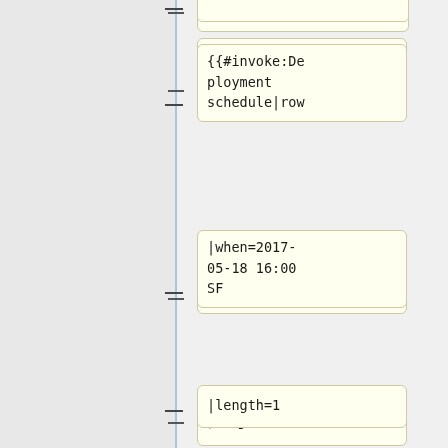{{#invoke:Deployment schedule|row
|when=2017-05-18 16:00 SF
|length=1
|window=[[SWAT deploys|Evening SWAT]] <br/> <small>'''(Max 8 patches)'''</small>
|who=